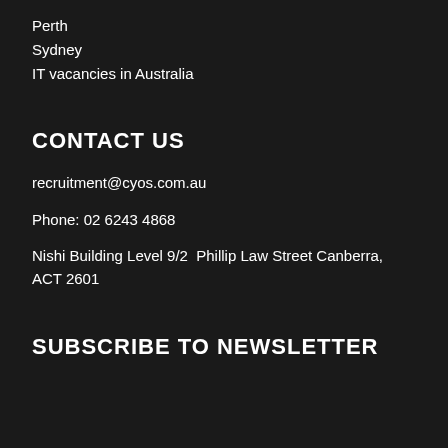Perth
Sydney
IT vacancies in Australia
CONTACT US
recruitment@cyos.com.au
Phone: 02 6243 4868
Nishi Building Level 9/2  Phillip Law Street Canberra, ACT 2601
SUBSCRIBE TO NEWSLETTER